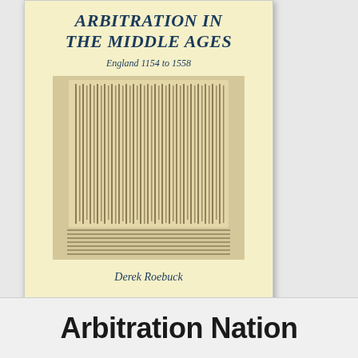[Figure (illustration): Book cover for 'Arbitration in the Middle Ages: England 1154 to 1558' by Derek Roebuck. Yellow/cream background with dark blue italic serif title text, subtitle 'England 1154 to 1558', an image of a medieval manuscript with handwritten text in columns, and the author name 'Derek Roebuck' at the bottom.]
Arbitration Nation